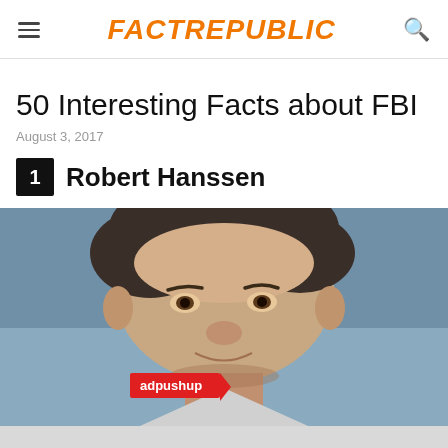FactRepublic
50 Interesting Facts about FBI
August 3, 2017
1 Robert Hanssen
[Figure (photo): Close-up photo of Robert Hanssen, a middle-aged man with dark hair, looking slightly to the side, against a blue-grey background]
adpushup